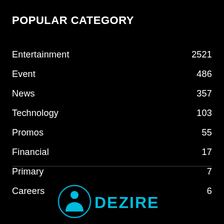POPULAR CATEGORY
Entertainment  2521
Event  486
News  357
Technology  103
Promos  55
Financial  17
Primary  7
Careers  6
[Figure (logo): Dezire logo at bottom of page — circular icon with a figure and text DEZIRE in cyan/blue]